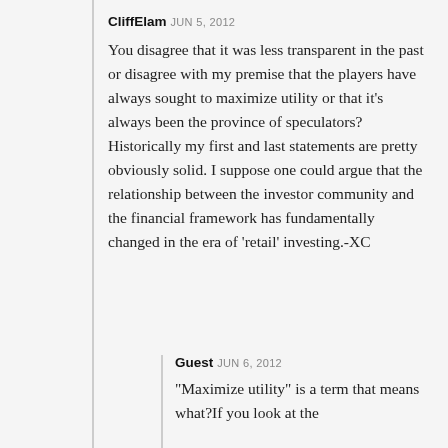CliffElam JUN 5, 2012
You disagree that it was less transparent in the past or disagree with my premise that the players have always sought to maximize utility or that it’s always been the province of speculators?Historically my first and last statements are pretty obviously solid. I suppose one could argue that the relationship between the investor community and the financial framework has fundamentally changed in the era of ‘retail’ investing.-XC
Guest JUN 6, 2012
“Maximize utility” is a term that means what?If you look at the